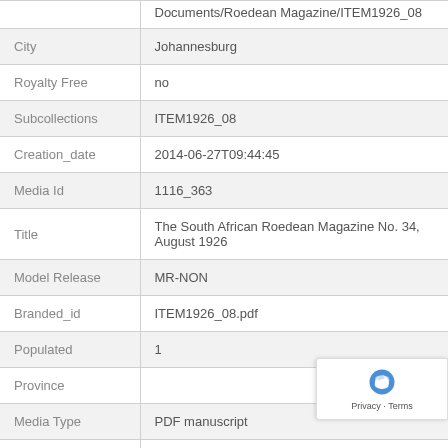| Field | Value |
| --- | --- |
|  | Documents/Roedean Magazine/ITEM1926_08 |
| City | Johannesburg |
| Royalty Free | no |
| Subcollections | ITEM1926_08 |
| Creation_date | 2014-06-27T09:44:45 |
| Media Id | 1116_363 |
| Title | The South African Roedean Magazine No. 34, August 1926 |
| Model Release | MR-NON |
| Branded_id | ITEM1926_08.pdf |
| Populated | 1 |
| Province |  |
| Media Type | PDF manuscript |
| Pixel Size | 2349 x 3981 |